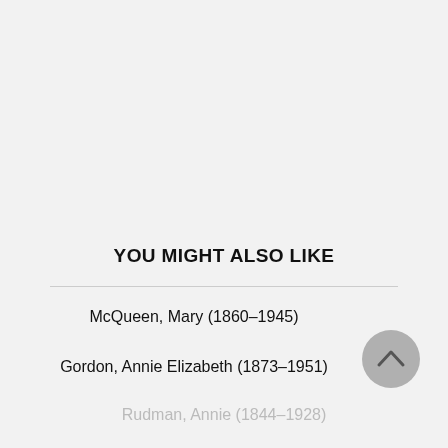YOU MIGHT ALSO LIKE
McQueen, Mary (1860–1945)
Gordon, Annie Elizabeth (1873–1951)
Rudman, Annie (1844–1928)